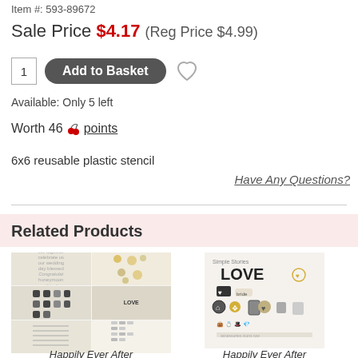Item #: 593-89672
Sale Price $4.17 (Reg Price $4.99)
1   Add to Basket  ♡
Available: Only 5 left
Worth 46 🍒 points
6x6 reusable plastic stencil
Have Any Questions?
Related Products
[Figure (photo): Sheet of wedding/love themed stickers with text, florals, dots - Happily Ever After product]
[Figure (photo): Love themed sticker sheet with icons - Happily Ever After product]
Happily Ever After
Happily Ever After